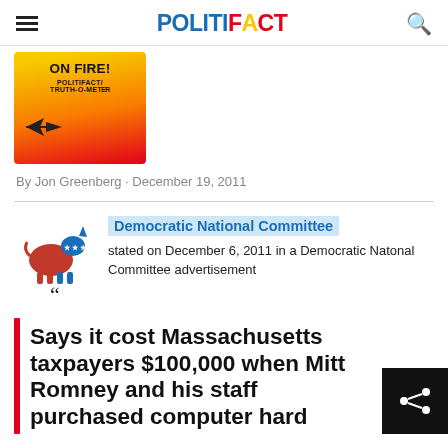POLITIFACT
[Figure (illustration): Partially visible PolitiFact 'Pants on Fire' Truth-O-Meter graphic showing flames and text 'ON FIRE! POLITIFACT TRUTH-O-METER']
By Jon Greenberg · December 19, 2011
Democratic National Committee stated on December 6, 2011 in a Democratic Natonal Committee advertisement
Says it cost Massachusetts taxpayers $100,000 when Mitt Romney and his staff purchased computer hard